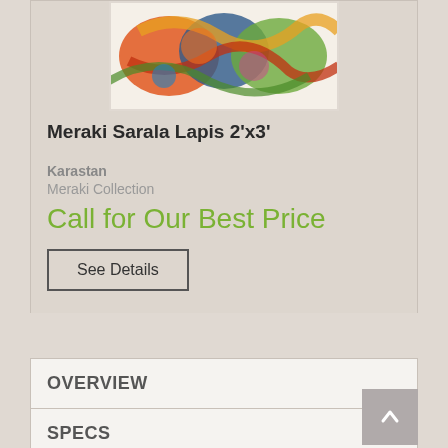[Figure (photo): Colorful abstract rug with warm tones — reds, oranges, greens, and blues in a decorative swirling pattern]
Meraki Sarala Lapis 2'x3'
Karastan
Meraki Collection
Call for Our Best Price
See Details
OVERVIEW
SPECS